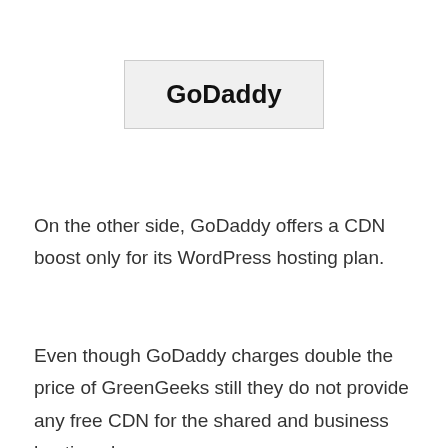[Figure (logo): GoDaddy logo text in a light gray box with border]
On the other side, GoDaddy offers a CDN boost only for its WordPress hosting plan.
Even though GoDaddy charges double the price of GreenGeeks still they do not provide any free CDN for the shared and business hosting plans.